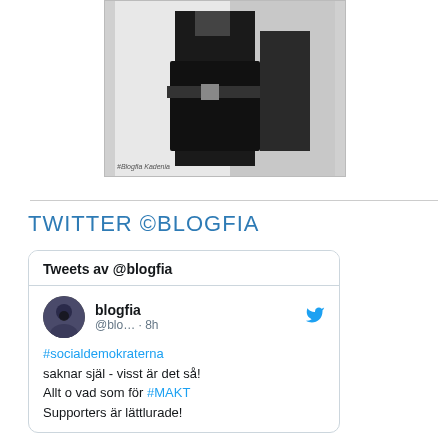[Figure (photo): Black and white mirror selfie photo of a person in a dark coat with a belt, holding a camera. Watermark text '#Blogfia Kadenia' visible at bottom left.]
TWITTER ©BLOGFIA
[Figure (screenshot): Twitter widget showing tweets by @blogfia. Tweet content: '#socialdemokraterna saknar själ - visst är det så! Allt o vad som för #MAKT Supporters är lättlurade!']